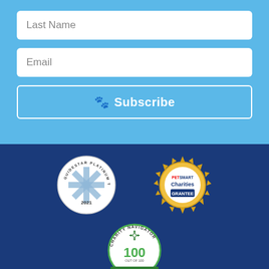Last Name
Email
🐾 Subscribe
[Figure (logo): GuideStar Platinum Transparency 2021 seal badge - circular white badge with star in center]
[Figure (logo): PetSmart Charities Grantee badge - gold sunburst seal with blue center]
[Figure (logo): Charity Navigator 100 out of 100 Give With Confidence badge - circular green and white badge]